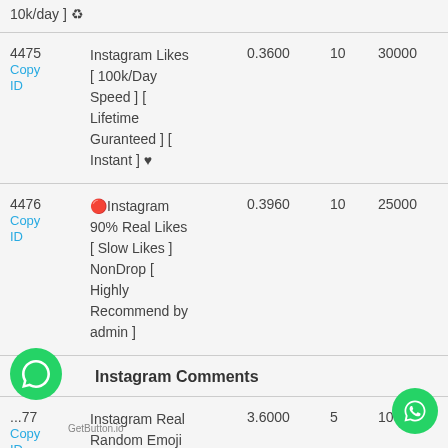10k/day ] ♻
| ID | Name | Price | Min | Max |
| --- | --- | --- | --- | --- |
| 4475
Copy ID | Instagram Likes [ 100k/Day Speed ] [ Lifetime Guranteed ] [ Instant ] ♥ | 0.3600 | 10 | 30000 |
| 4476
Copy ID | 🔴Instagram 90% Real Likes [ Slow Likes ] NonDrop [ Highly Recommend by admin ] | 0.3960 | 10 | 25000 |
Instagram Comments
| ID | Name | Price | Min | Max |
| --- | --- | --- | --- | --- |
| ...77
Copy ID | Instagram Real Random Emoji Comments [ | 3.6000 | 5 | 100000 |